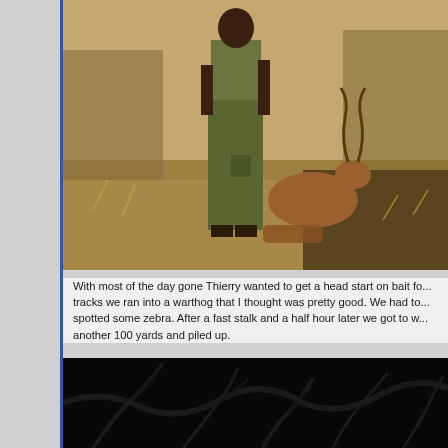[Figure (photo): Person in olive/khaki uniform standing in dry bush terrain with an antelope (kudu) behind them on rocky dry ground with dry grass]
With most of the day gone Thierry wanted to get a head start on bait fo... tracks we ran into a warthog that I thought was pretty good. We had to... spotted some zebra. After a fast stalk and a half hour later we got to w... another 100 yards and piled up.
[Figure (photo): Dark nighttime or low-light photo showing silhouettes of tree branches against a very dark background]